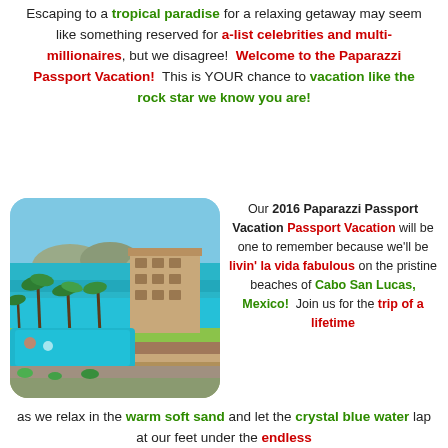Escaping to a tropical paradise for a relaxing getaway may seem like something reserved for a-list celebrities and multi-millionaires, but we disagree!  Welcome to the Paparazzi Passport Vacation!  This is YOUR chance to vacation like the rock star we know you are!
[Figure (photo): Aerial/elevated view of a tropical resort with turquoise swimming pools, palm trees, a beachfront hotel building, sandy beach, and ocean with mountains in the background — Cabo San Lucas, Mexico.]
Our 2016 Paparazzi Passport Vacation will be one to remember because we'll be livin' la vida fabulous on the pristine beaches of Cabo San Lucas, Mexico!  Join us for the trip of a lifetime as we relax in the warm soft sand and let the crystal blue water lap at our feet under the endless